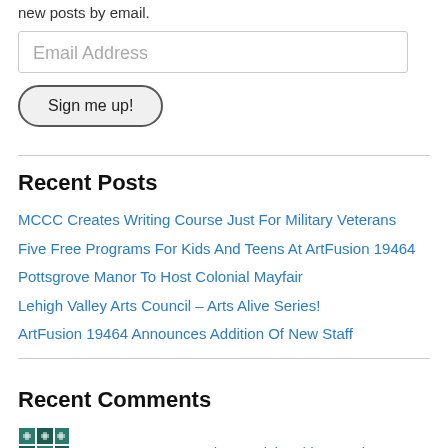new posts by email.
Email Address
Sign me up!
Recent Posts
MCCC Creates Writing Course Just For Military Veterans
Five Free Programs For Kids And Teens At ArtFusion 19464
Pottsgrove Manor To Host Colonial Mayfair
Lehigh Valley Arts Council – Arts Alive Series!
ArtFusion 19464 Announces Addition Of New Staff
Recent Comments
magman007 on Murderer Caleb Fairley Continu…